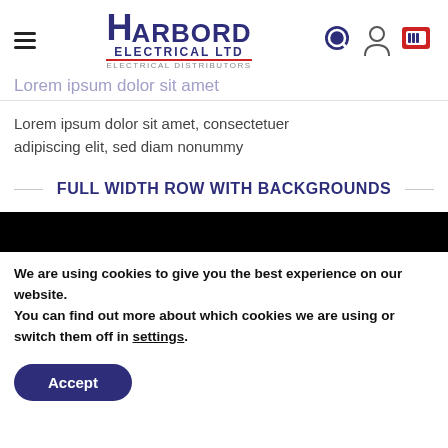[Figure (logo): Harbord Electrical Ltd logo with hamburger menu and header icons (search, user, cart)]
Lorem ipsum dolor sit amet
Lorem ipsum dolor sit amet, consectetuer adipiscing elit, sed diam nonummy
FULL WIDTH ROW WITH BACKGROUNDS
[Figure (other): Black horizontal bar spanning full width]
We are using cookies to give you the best experience on our website.
You can find out more about which cookies we are using or switch them off in settings.
Accept